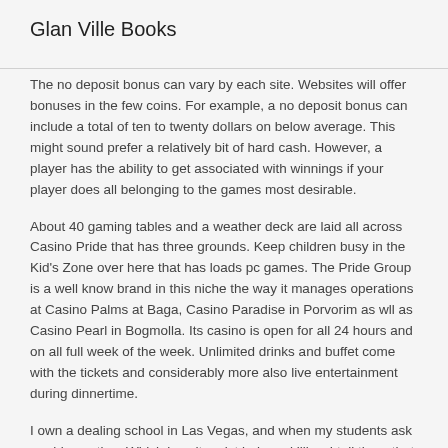Glan Ville Books
The no deposit bonus can vary by each site. Websites will offer bonuses in the few coins. For example, a no deposit bonus can include a total of ten to twenty dollars on below average. This might sound prefer a relatively bit of hard cash. However, a player has the ability to get associated with winnings if your player does all belonging to the games most desirable.
About 40 gaming tables and a weather deck are laid all across Casino Pride that has three grounds. Keep children busy in the Kid's Zone over here that has loads pc games. The Pride Group is a well know brand in this niche the way it manages operations at Casino Palms at Baga, Casino Paradise in Porvorim as wll as Casino Pearl in Bogmolla. Its casino is open for all 24 hours and on all full week of the week. Unlimited drinks and buffet come with the tickets and considerably more also live entertainment during dinnertime.
I own a dealing school in Las Vegas, and when my students ask madd counting, Which i can't resist being a killjoy. I tell them that I